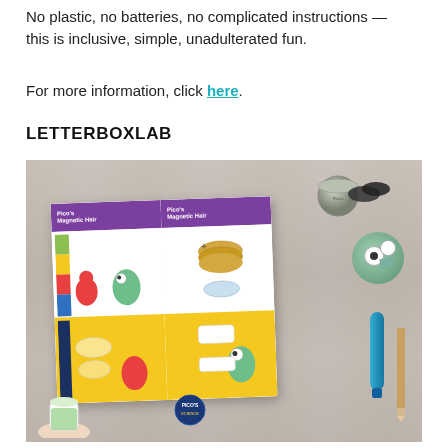No plastic, no batteries, no complicated instructions — this is inclusive, simple, unadulterated fun.
For more information, click here.
LETTERBOXLAB
[Figure (photo): Overhead photo of an open illustrated activity booklet titled 'Pico's Magnetic Hair' laid on a light wooden table. The booklet has purple header panels and colorful yellow/white illustrated panels with cartoon characters. Surrounding items include a grey tin can, dark stones, a green monster-shaped badge, a teal pen/tube, a wooden pencil, a blue badge, a white cup with green drink, and a person's hand.]